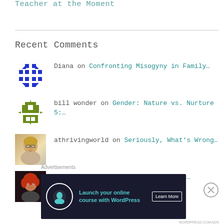Teacher at the Moment
Recent Comments
Diana on Confronting Misogyny in Family…
bill wonder on Gender: Nature vs. Nurture 5:…
athrivingworld on Seriously, What's Wrong…
delirae on Seriously, What's Wrong…
Advertisements
[Figure (infographic): Advertisement banner: Launch your online course with WordPress. Learn More button. Dark navy background with teal icon and text.]